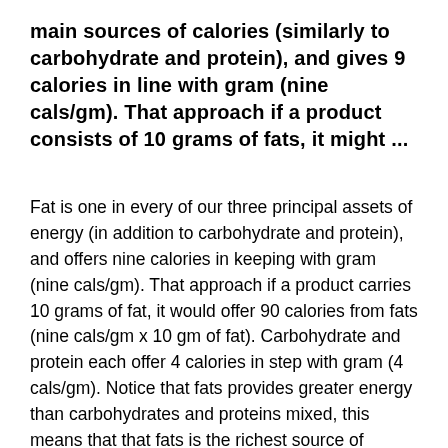main sources of calories (similarly to carbohydrate and protein), and gives 9 calories in line with gram (nine cals/gm). That approach if a product consists of 10 grams of fats, it might ...
Fat is one in every of our three principal assets of energy (in addition to carbohydrate and protein), and offers nine calories in keeping with gram (nine cals/gm). That approach if a product carries 10 grams of fat, it would offer 90 calories from fats (nine cals/gm x 10 gm of fat). Carbohydrate and protein each offer 4 calories in step with gram (4 cals/gm). Notice that fats provides greater energy than carbohydrates and proteins mixed, this means that that fats is the richest source of calories in our food regimen. This is why it's vital to watch your fat consumption in case you're trying to lose weight. If you currently have a high-fats food plan, then proscribing your fat consumption is one of the fastest ways to cut